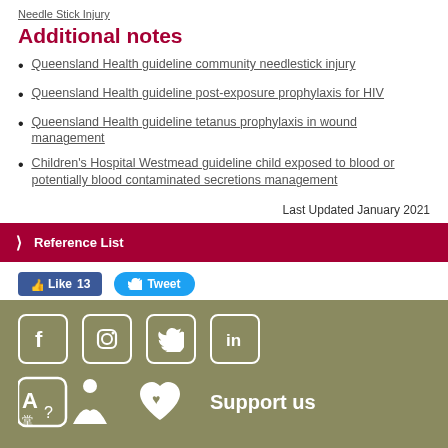Needle Stick Injury
Additional notes
Queensland Health guideline community needlestick injury
Queensland Health guideline post-exposure prophylaxis for HIV
Queensland Health guideline tetanus prophylaxis in wound management
Children's Hospital Westmead guideline child exposed to blood or potentially blood contaminated secretions management
Last Updated January 2021
Reference List
Like 13  Tweet
[Figure (infographic): Footer with social media icons (Facebook, Instagram, Twitter, LinkedIn), translation/accessibility icons, a heart/support icon, and Support us text on an olive/khaki green background]